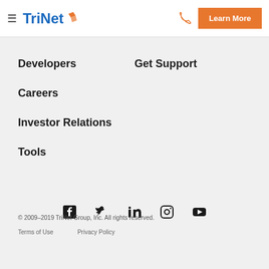TriNet — Learn More
Developers
Get Support
Careers
Investor Relations
Tools
[Figure (other): Social media icons row: Facebook, Twitter, LinkedIn, Instagram, YouTube]
© 2009–2019 TriNet Group, Inc. All rights reserved.
Terms of Use    Privacy Policy